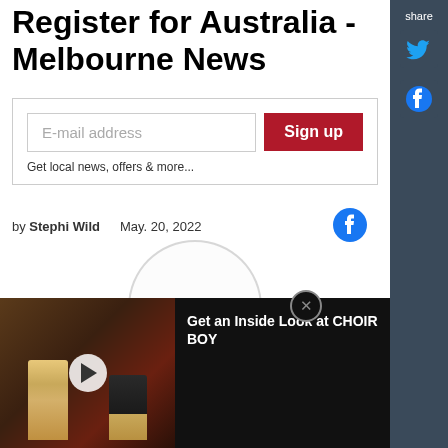Register for Australia - Melbourne News
E-mail address
Sign up
Get local news, offers & more...
by Stephi Wild   May. 20, 2022
[Figure (screenshot): Share sidebar with Twitter and Facebook icons on dark blue-gray background]
[Figure (photo): Video player showing theater scene with two performers, titled Get an Inside Look at CHOIR BOY]
Get an Inside Look at CHOIR BOY